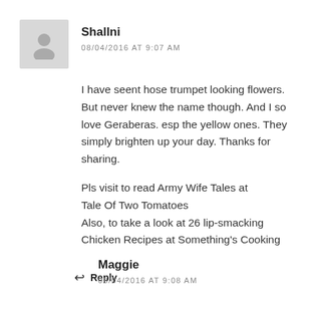[Figure (illustration): Gray default avatar icon with person silhouette]
Shallni
08/04/2016 AT 9:07 AM
I have seent hose trumpet looking flowers. But never knew the name though. And I so love Geraberas. esp the yellow ones. They simply brighten up your day. Thanks for sharing.
Pls visit to read Army Wife Tales at Tale Of Two Tomatoes Also, to take a look at 26 lip-smacking Chicken Recipes at Something's Cooking
↩ Reply
Maggie
08/04/2016 AT 9:08 AM